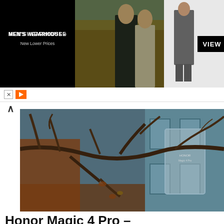[Figure (photo): Men's Wearhouse advertisement banner showing a couple in formal wear and a man in a suit with a VIEW button]
[Figure (photo): Outdoor photo of bare tree branches in front of a blue building, with a transparent Honor device box visible in the background]
Honor Magic 4 Pro – Unboxing
The day has arrived when I can unbox the newest Honor flagship the Honor Magic 4 Pro. I am unfortunately a bit late to the party and